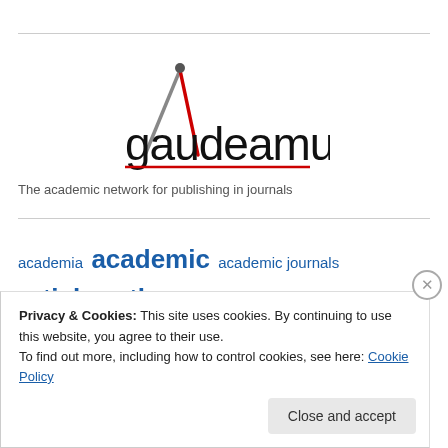[Figure (logo): Gaudeamus academic network logo — stylized compass/triangle graphic above the word 'gaudeamus' in black lowercase with a red underline]
The academic network for publishing in journals
academia  academic  academic journals  article  author  blog
business  citation  citation index  cite...
Privacy & Cookies: This site uses cookies. By continuing to use this website, you agree to their use.
To find out more, including how to control cookies, see here: Cookie Policy
Close and accept